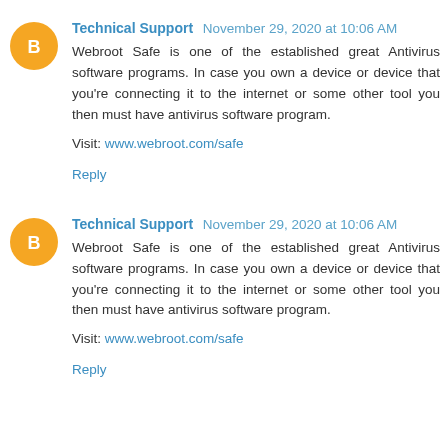Technical Support  November 29, 2020 at 10:06 AM
Webroot Safe is one of the established great Antivirus software programs. In case you own a device or device that you're connecting it to the internet or some other tool you then must have antivirus software program.

Visit: www.webroot.com/safe

Reply
Technical Support  November 29, 2020 at 10:06 AM
Webroot Safe is one of the established great Antivirus software programs. In case you own a device or device that you're connecting it to the internet or some other tool you then must have antivirus software program.

Visit: www.webroot.com/safe

Reply